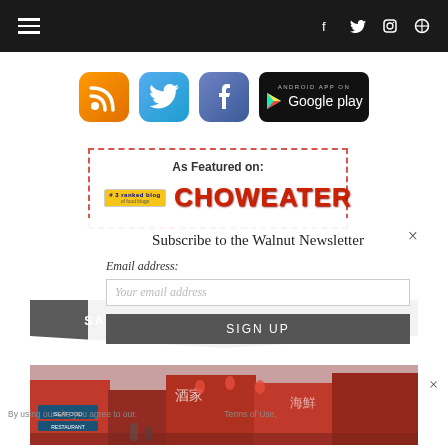Navigation bar with hamburger menu and social icons (f, Twitter, Instagram, Search)
[Figure (screenshot): Row of social media icons: RSS (orange), Twitter (blue bird), Facebook (blue f), and Google Play badge (black)]
[Figure (screenshot): As Featured on: Choweater logo with ranked blog badge]
[Figure (screenshot): Newsletter subscription overlay: 'Subscribe to the Walnut Newsletter', Email address field, SIGN UP button, close X]
SAN FRANCISCO NEIGHBORHOODS
[Figure (photo): Chinatown street scene with red buildings, signs including SEAFOOD RESTAURANT]
By using our site you agree to our. Terms of Use.